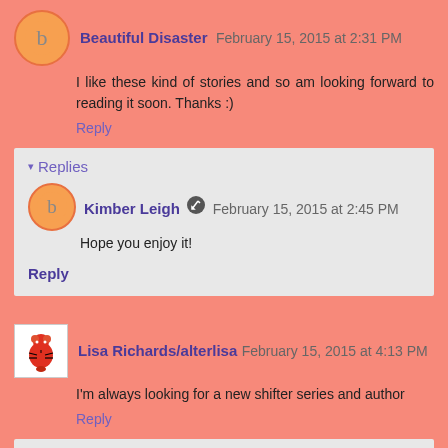Beautiful Disaster  February 15, 2015 at 2:31 PM
I like these kind of stories and so am looking forward to reading it soon. Thanks :)
Reply
Replies
Kimber Leigh  February 15, 2015 at 2:45 PM
Hope you enjoy it!
Reply
Lisa Richards/alterlisa  February 15, 2015 at 4:13 PM
I'm always looking for a new shifter series and author
Reply
Replies
Kimber Leigh  February 16, 2015 at 12:05